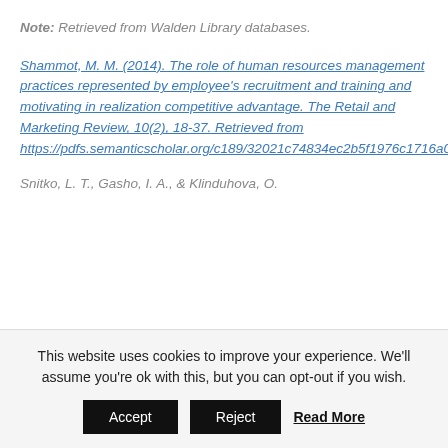Note: Retrieved from Walden Library databases.
Shammot, M. M. (2014). The role of human resources management practices represented by employee's recruitment and training and motivating in realization competitive advantage. The Retail and Marketing Review, 10(2), 18-37. Retrieved from https://pdfs.semanticscholar.org/c189/32021c74834ec2b5f1976c1716a03f2ed920.pdf
Snitko, L. T., Gasho, I. A., & Klinduhova, O.
This website uses cookies to improve your experience. We'll assume you're ok with this, but you can opt-out if you wish.